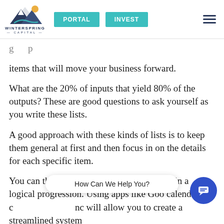WINTERSPRING CAPITAL — PORTAL | INVEST
items that will move your business forward.
What are the 20% of inputs that yield 80% of the outputs? These are good questions to ask yourself as you write these lists.
A good approach with these kinds of lists is to keep them general at first and then focus in on the details for each specific item.
You can then create sub-tasks for each step in a logical progression. Using apps like Goo calendar in c no will allow you to create a streamlined system